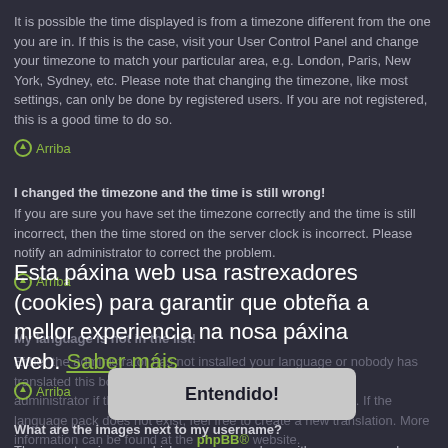It is possible the time displayed is from a timezone different from the one you are in. If this is the case, visit your User Control Panel and change your timezone to match your particular area, e.g. London, Paris, New York, Sydney, etc. Please note that changing the timezone, like most settings, can only be done by registered users. If you are not registered, this is a good time to do so.
Arriba
I changed the timezone and the time is still wrong!
If you are sure you have set the timezone correctly and the time is still incorrect, then the time stored on the server clock is incorrect. Please notify an administrator to correct the problem.
Arriba
My language is not in the list!
Either the administrator has not installed your language or nobody has translated this board into your language. Try asking a board administrator if they can install the language pack you need. If the language pack does not exist, feel free to create a new translation. More information can be found at the phpBB® website.
[Figure (other): Cookie consent banner overlay in Galician: 'Esta páxina web usa rastrexadores (cookies) para garantir que obteña a mellor experiencia na nosa páxina web. Saber máis' with an 'Entendido!' button]
Arriba
What are the images next to my username?
There are two images which may appear along with a username when viewing